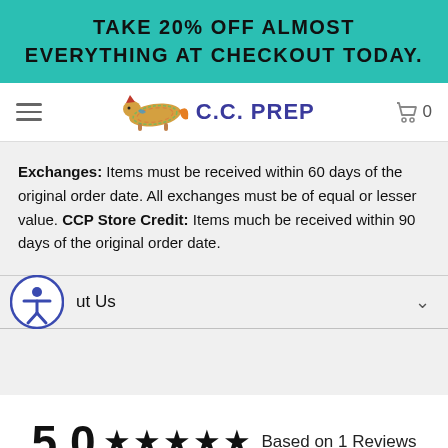TAKE 20% OFF ALMOST EVERYTHING AT CHECKOUT TODAY.
[Figure (logo): C.C. PREP logo with running fox illustration and shopping cart icon]
Exchanges: Items must be received within 60 days of the original order date. All exchanges must be of equal or lesser value. CCP Store Credit: Items much be received within 90 days of the original order date.
About Us
5.0 ★★★★★ Based on 1 Reviews